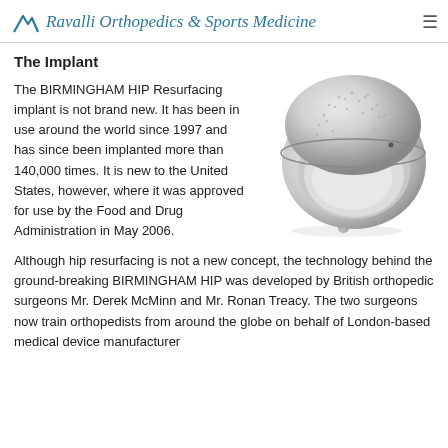Ravalli Orthopedics & Sports Medicine
The Implant
[Figure (photo): Birmingham Hip Resurfacing implant — a metallic mushroom-shaped prosthetic component with a textured dome cap and polished cup, shown on a white background.]
The BIRMINGHAM HIP Resurfacing implant is not brand new. It has been in use around the world since 1997 and has since been implanted more than 140,000 times. It is new to the United States, however, where it was approved for use by the Food and Drug Administration in May 2006.
Although hip resurfacing is not a new concept, the technology behind the ground-breaking BIRMINGHAM HIP was developed by British orthopedic surgeons Mr. Derek McMinn and Mr. Ronan Treacy. The two surgeons now train orthopedists from around the globe on behalf of London-based medical device manufacturer